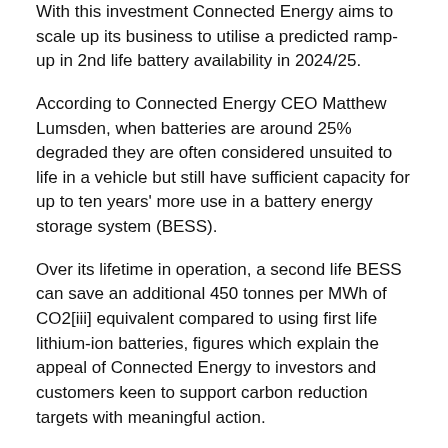With this investment Connected Energy aims to scale up its business to utilise a predicted ramp-up in 2nd life battery availability in 2024/25.
According to Connected Energy CEO Matthew Lumsden, when batteries are around 25% degraded they are often considered unsuited to life in a vehicle but still have sufficient capacity for up to ten years' more use in a battery energy storage system (BESS).
Over its lifetime in operation, a second life BESS can save an additional 450 tonnes per MWh of CO2[iii] equivalent compared to using first life lithium-ion batteries, figures which explain the appeal of Connected Energy to investors and customers keen to support carbon reduction targets with meaningful action.
Supporting the use of renewable energy sources, battery energy storage has been described as the ‘true bridge to a clean energy future’, and the UK is one of the fastest